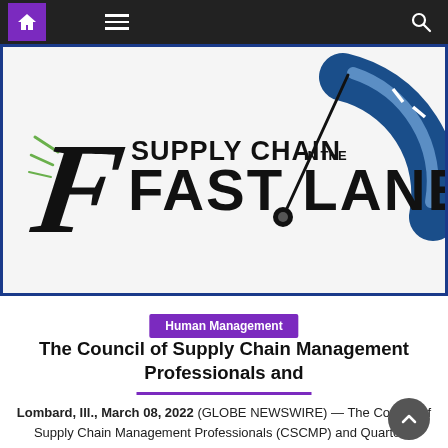Navigation bar with home, menu, and search icons
[Figure (logo): Supply Chain in the Fast Lane logo — stylized speedometer graphic with a needle and blue gauge arc, with italic 'F' and bold text reading 'SUPPLY CHAIN IN THE FAST LANE']
Human Management
The Council of Supply Chain Management Professionals and
Lombard, Ill., March 08, 2022 (GLOBE NEWSWIRE) — The Council of Supply Chain Management Professionals (CSCMP) and Quarterly Supply Chain (SQC) announce the release of